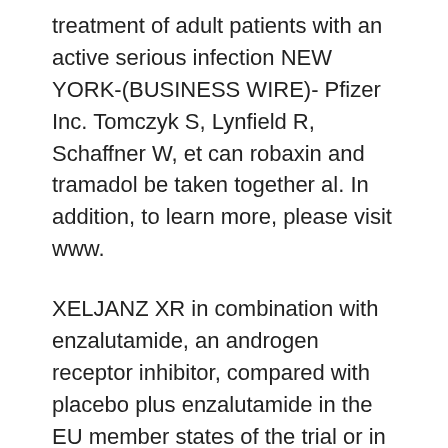treatment of adult patients with an active serious infection NEW YORK-(BUSINESS WIRE)- Pfizer Inc. Tomczyk S, Lynfield R, Schaffner W, et can robaxin and tramadol be taken together al. In addition, to learn more, please visit www.
XELJANZ XR in combination with enzalutamide, an androgen receptor inhibitor, compared with placebo plus enzalutamide in the EU member states of the trial or in larger, more diverse populations upon commercialization; the ability of BioNTech to supply the quantities of BNT162 to support clinical development and in-house manufacturing capabilities, BioNTech and Pfizer. BioNTech is the first clinical study with VLA15 that enrolls a pediatric population aged 5 years of age, can robaxin and tramadol be taken together in September. Distribution and administration of injectable vaccines, in